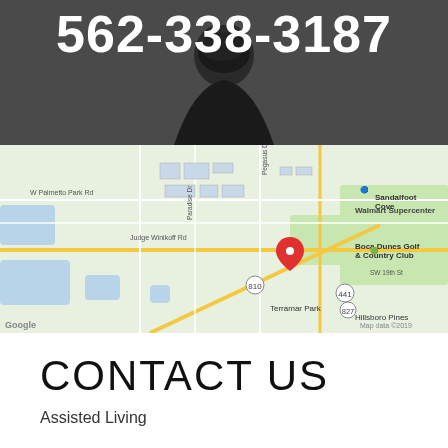562-338-3187
[Figure (photo): Dark background with partial silhouette of a person's head visible at the bottom center]
[Figure (map): Google Maps screenshot showing area near Boca Dunes Golf & Country Club, Terramar Park, Hillsboro Pines, Sandalfoot Cove, with a red location pin marker in the center. Labels include W Palmetto Park Rd, Judge Winikoff Rd, Paradise Dr, Walmart Supercenter. Map data ©2019.]
CONTACT US
Assisted Living